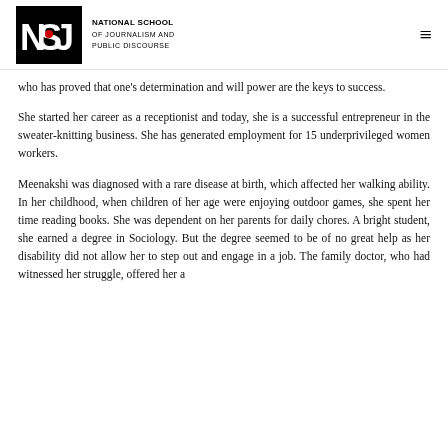NSJ — National School of Journalism and Public Discourse
who has proved that one's determination and will power are the keys to success.
She started her career as a receptionist and today, she is a successful entrepreneur in the sweater-knitting business. She has generated employment for 15 underprivileged women workers.
Meenakshi was diagnosed with a rare disease at birth, which affected her walking ability. In her childhood, when children of her age were enjoying outdoor games, she spent her time reading books. She was dependent on her parents for daily chores. A bright student, she earned a degree in Sociology. But the degree seemed to be of no great help as her disability did not allow her to step out and engage in a job. The family doctor, who had witnessed her struggle, offered her a